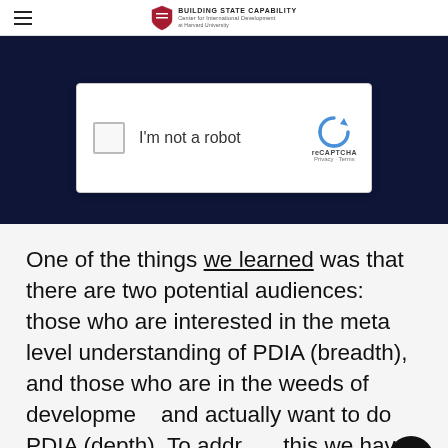BUILDING STATE CAPABILITY | Center for International Development at Harvard University
[Figure (screenshot): reCAPTCHA widget on dark navy background showing checkbox 'I'm not a robot' with reCAPTCHA logo, Privacy and Terms links]
One of the things we learned was that there are two potential audiences: those who are interested in the meta level understanding of PDIA (breadth), and those who are in the weeds of development and actually want to do PDIA (depth). To addr... this we have iterated and adapted and are now...